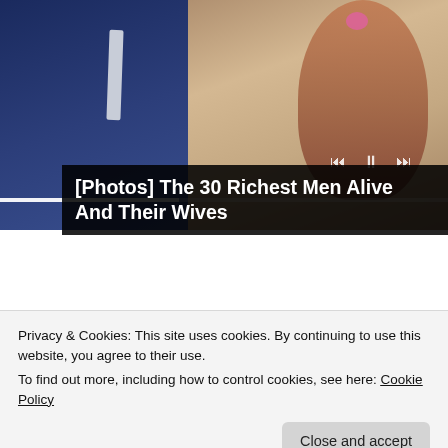[Figure (photo): A man in a navy suit and a woman in a lace dress, partially visible, with media playback controls overlaid]
[Photos] The 30 Richest Men Alive And Their Wives
Sponsored by Bon Voyaged
[Figure (photo): Headshot of a woman with highlighted hair smiling]
Embarrassing Fashion Trends Boomers Won't Give Up
Bon Voyaged
Privacy & Cookies: This site uses cookies. By continuing to use this website, you agree to their use.
To find out more, including how to control cookies, see here: Cookie Policy
Close and accept